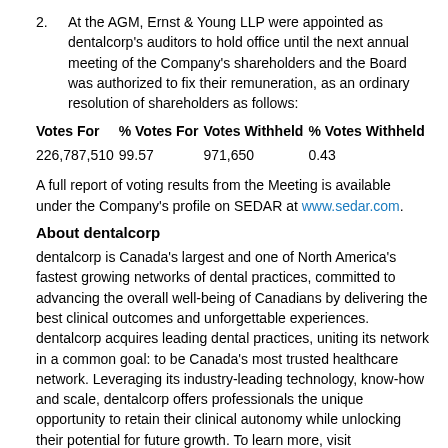2. At the AGM, Ernst & Young LLP were appointed as dentalcorp's auditors to hold office until the next annual meeting of the Company's shareholders and the Board was authorized to fix their remuneration, as an ordinary resolution of shareholders as follows:
| Votes For | % Votes For | Votes Withheld | % Votes Withheld |
| --- | --- | --- | --- |
| 226,787,510 | 99.57 | 971,650 | 0.43 |
A full report of voting results from the Meeting is available under the Company's profile on SEDAR at www.sedar.com.
About dentalcorp
dentalcorp is Canada's largest and one of North America's fastest growing networks of dental practices, committed to advancing the overall well-being of Canadians by delivering the best clinical outcomes and unforgettable experiences. dentalcorp acquires leading dental practices, uniting its network in a common goal: to be Canada's most trusted healthcare network. Leveraging its industry-leading technology, know-how and scale, dentalcorp offers professionals the unique opportunity to retain their clinical autonomy while unlocking their potential for future growth. To learn more, visit